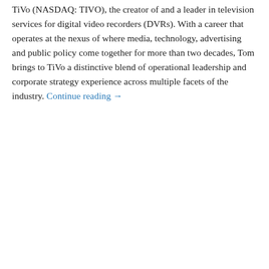TiVo (NASDAQ: TIVO), the creator of and a leader in television services for digital video recorders (DVRs). With a career that operates at the nexus of where media, technology, advertising and public policy come together for more than two decades, Tom brings to TiVo a distinctive blend of operational leadership and corporate strategy experience across multiple facets of the industry. Continue reading →
Privacy & Cookies: This site uses cookies. By continuing to use this website, you agree to their use.
To find out more, including how to control cookies, see here: Cookie Policy